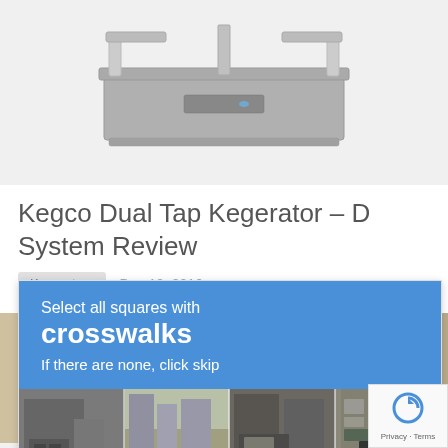[Figure (photo): Top-down product photo of a Kegco dual tap kegerator appliance, gray/silver metallic, against light gray background]
Kegco Dual Tap Kegerator – D System Review
Kegerators   Dec 19, 2016
[Figure (photo): Close-up photo of a beer tap handle/faucet on a kegerator in a home setting with warm-toned walls]
[Figure (screenshot): Google reCAPTCHA challenge overlay with blue header saying 'Select all squares with crosswalks. If there are none, click skip', with a grid of street scene images below]
[Figure (photo): reCAPTCHA badge/widget showing the reCAPTCHA icon with 'Privacy - Terms' text]